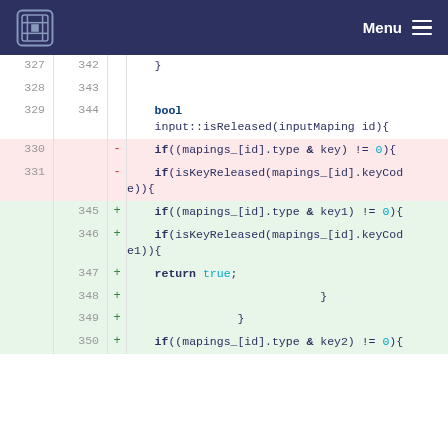Menu
327  342    }
328  343
329  344    bool
             input::isReleased(inputMaping id){
330       -   if((mapings_[id].type & key) != 0){
331       -   if(isKeyReleased(mapings_[id].keyCode)){
     345  +   if((mapings_[id].type & key1) != 0){
     346  +   if(isKeyReleased(mapings_[id].keyCode1)){
     347  +   return true;
     348  +                           }
     349  +               }
     350  +   if((mapings_[id].type & key2) != 0){